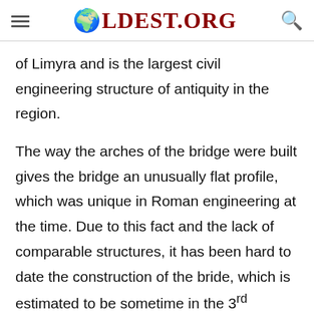OLDEST.ORG
of Limyra and is the largest civil engineering structure of antiquity in the region.
The way the arches of the bridge were built gives the bridge an unusually flat profile, which was unique in Roman engineering at the time. Due to this fact and the lack of comparable structures, it has been hard to date the construction of the bride, which is estimated to be sometime in the 3rd century. Additionally, very little scientific research has been conducted on the bridge and there is no information about the bridge from